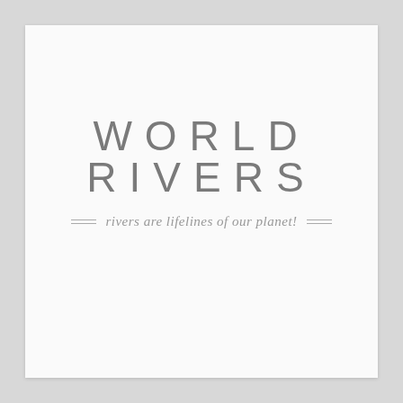WORLD RIVERS
rivers are lifelines of our planet!